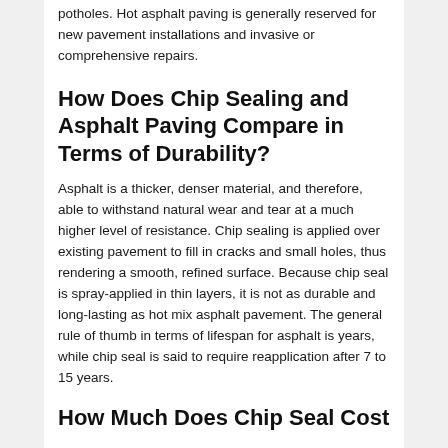potholes. Hot asphalt paving is generally reserved for new pavement installations and invasive or comprehensive repairs.
How Does Chip Sealing and Asphalt Paving Compare in Terms of Durability?
Asphalt is a thicker, denser material, and therefore, able to withstand natural wear and tear at a much higher level of resistance. Chip sealing is applied over existing pavement to fill in cracks and small holes, thus rendering a smooth, refined surface. Because chip seal is spray-applied in thin layers, it is not as durable and long-lasting as hot mix asphalt pavement. The general rule of thumb in terms of lifespan for asphalt is years, while chip seal is said to require reapplication after 7 to 15 years.
How Much Does Chip Seal Cost